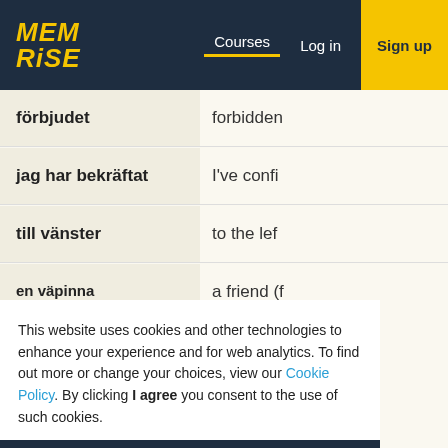Memrise — Courses | Log in | Sign up
| Swedish | English |
| --- | --- |
| förbjudet | forbidden |
| jag har bekräftat | I've confirmed |
| till vänster | to the left |
| en väpinna | a friend (f) |
|  | o glow |
|  | a plate, a |
|  | Come and lowers. |
|  | a tailor |
|  | the pink |
This website uses cookies and other technologies to enhance your experience and for web analytics. To find out more or change your choices, view our Cookie Policy. By clicking I agree you consent to the use of such cookies.
I agree